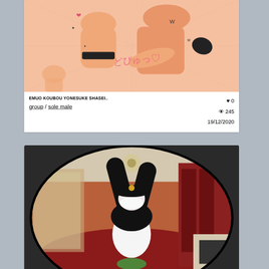[Figure (illustration): Anime-style illustration showing two figures in an intimate scene with Japanese text overlaid, drawn in orange/peach tones with action lines]
EMUO KOUBOU YONESUKE SHASEI..
group / sole male
♥ 0
👁 245
19/12/2020
[Figure (screenshot): 3D VR-style screenshot showing an anime character with a military hat in a red-carpeted room, viewed through a fisheye lens perspective]